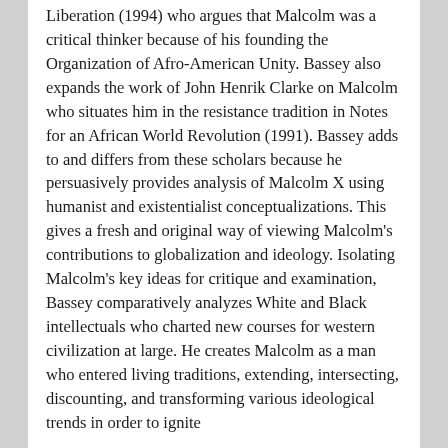Liberation (1994) who argues that Malcolm was a critical thinker because of his founding the Organization of Afro-American Unity. Bassey also expands the work of John Henrik Clarke on Malcolm who situates him in the resistance tradition in Notes for an African World Revolution (1991). Bassey adds to and differs from these scholars because he persuasively provides analysis of Malcolm X using humanist and existentialist conceptualizations. This gives a fresh and original way of viewing Malcolm's contributions to globalization and ideology. Isolating Malcolm's key ideas for critique and examination, Bassey comparatively analyzes White and Black intellectuals who charted new courses for western civilization at large. He creates Malcolm as a man who entered living traditions, extending, intersecting, discounting, and transforming various ideological trends in order to ignite